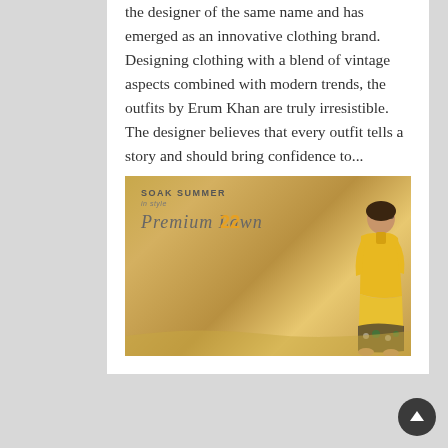the designer of the same name and has emerged as an innovative clothing brand. Designing clothing with a blend of vintage aspects combined with modern trends, the outfits by Erum Khan are truly irresistible. The designer believes that every outfit tells a story and should bring confidence to...
[Figure (photo): Fashion advertisement image for 'Soak Summer in Style - Premium Lawn 22' showing a woman in a yellow outfit sitting on a sandy surface with a floral pattern fabric.]